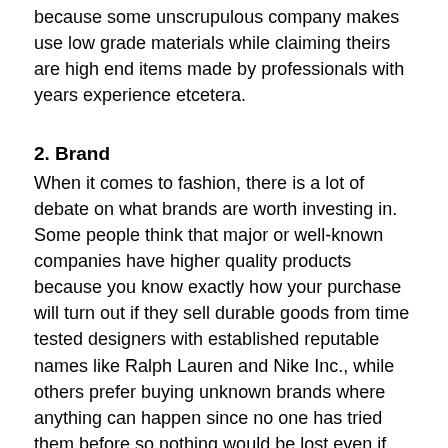because some unscrupulous company makes use low grade materials while claiming theirs are high end items made by professionals with years experience etcetera.
2. Brand
When it comes to fashion, there is a lot of debate on what brands are worth investing in. Some people think that major or well-known companies have higher quality products because you know exactly how your purchase will turn out if they sell durable goods from time tested designers with established reputable names like Ralph Lauren and Nike Inc., while others prefer buying unknown brands where anything can happen since no one has tried them before so nothing would be lost even if something goes wrong during delivery etcetera. The best way for me personally was going through both sides until finally landing somewhere between these two extremes: buy a recognizable name.
3. Function